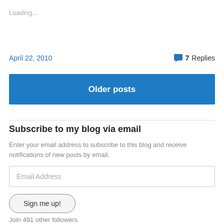Loading...
April 22, 2010
7 Replies
Older posts
Subscribe to my blog via email
Enter your email address to subscribe to this blog and receive notifications of new posts by email.
Email Address
Sign me up!
Join 491 other followers